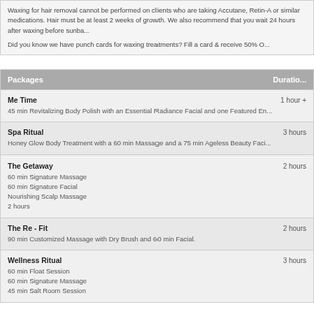Waxing for hair removal cannot be performed on clients who are taking Accutane, Retin-A or similar medications. Hair must be at least 2 weeks of growth. We also recommend that you wait 24 hours after waxing before sunbathing or using a tanning bed.
Did you know we have punch cards for waxing treatments? Fill a card & receive 50% Off your next waxing service!
| Packages | Duration |
| --- | --- |
| Me Time | 1 hour + |
| 45 min Revitalizing Body Polish with an Essential Radiance Facial and one Featured Enhancement |  |
| Spa Ritual | 3 hours |
| Honey Glow Body Treatment with a 60 min Massage and a 75 min Ageless Beauty Facial |  |
| The Getaway | 2 hours |
| 60 min Signature Massage
60 min Signature Facial
Nourishing Scalp Massage
2 hours |  |
| The Re - Fit | 2 hours |
| 90 min Customized Massage with Dry Brush and 60 min Facial. |  |
| Wellness Ritual | 3 hours |
| 60 min Float Session
60 min Signature Massage
45 min Salt Room Session |  |